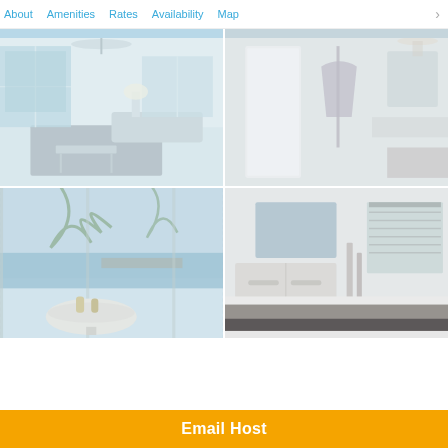About  Amenities  Rates  Availability  Map  >
[Figure (photo): Top partial strip showing two property interior/exterior photos cropped at top]
[Figure (photo): Interior photo of bright living room with ceiling fan and large windows overlooking pool area]
[Figure (photo): Interior photo of bedroom/dressing area with white doors and hanging dress]
[Figure (photo): Screened lanai/patio area with round white table and view of waterway with palm trees]
[Figure (photo): Bedroom interior with white furniture, dresser, and window with blinds]
Email Host